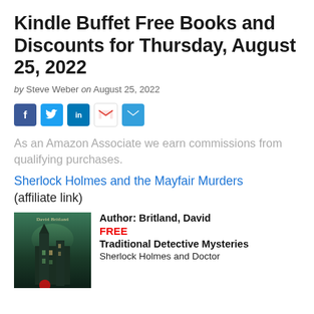Kindle Buffet Free Books and Discounts for Thursday, August 25, 2022
by Steve Weber on August 25, 2022
[Figure (infographic): Social share buttons: Facebook, Twitter, LinkedIn, Gmail, Email]
As an Amazon Associate we earn commissions from qualifying purchases.
Sherlock Holmes and the Mayfair Murders (affiliate link)
[Figure (photo): Book cover of Sherlock Holmes and the Mayfair Murders by David Britland, featuring a dark gothic building]
Author: Britland, David
FREE
Traditional Detective Mysteries
Sherlock Holmes and Doctor